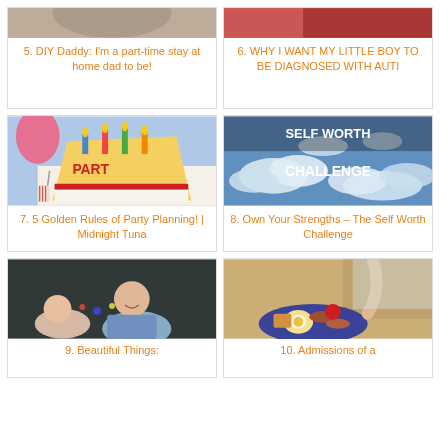[Figure (photo): Partially visible photo at top of card 5 (DIY Daddy)]
5. DIY Daddy: I'm a part-time stay at home dad to be!
[Figure (photo): Partially visible photo at top of card 6 (WHY I WANT MY LITTLE BOY TO BE DIAGNOSED WITH AUTI)]
6. WHY I WANT MY LITTLE BOY TO BE DIAGNOSED WITH AUTI
[Figure (photo): Birthday cake with candles spelling PART]
7. 5 Golden Rules of Party Planning! | Midnight Tuna
[Figure (photo): Sky with clouds and text SELF WORTH CHALLENGE]
8. Own Your Strengths – The Self Worth Challenge
[Figure (photo): Two young children, one baby and one toddler smiling]
9. Beautiful Things:
[Figure (photo): Young child eating a full breakfast plate at a restaurant]
10. Admissions of a